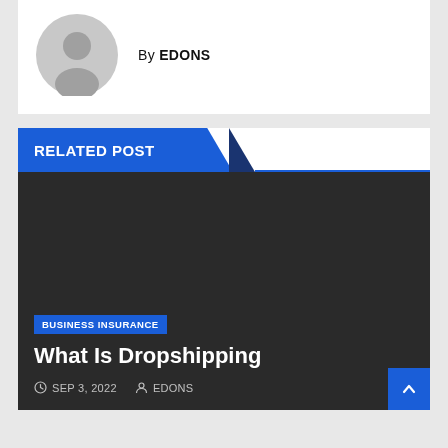By EDONS
RELATED POST
[Figure (photo): Dark background article card image]
BUSINESS INSURANCE
What Is Dropshipping
SEP 3, 2022  EDONS